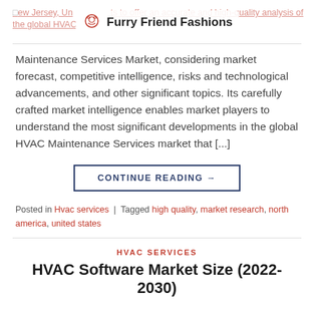Furry Friend Fashions
Maintenance Services Market, considering market forecast, competitive intelligence, risks and technological advancements, and other significant topics. Its carefully crafted market intelligence enables market players to understand the most significant developments in the global HVAC Maintenance Services market that [...]
CONTINUE READING →
Posted in Hvac services | Tagged high quality, market research, north america, united states
HVAC SERVICES
HVAC Software Market Size (2022-2030)